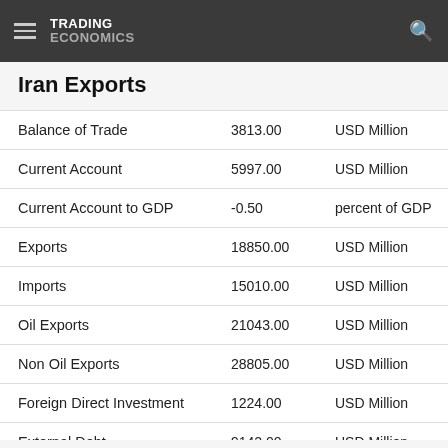TRADING ECONOMICS
Iran Exports
|  | Value | Unit | Period |
| --- | --- | --- | --- |
| Balance of Trade | 3813.00 | USD Million | Sep |
| Current Account | 5997.00 | USD Million | Sep |
| Current Account to GDP | -0.50 | percent of GDP | Dec |
| Exports | 18850.00 | USD Million | Sep |
| Imports | 15010.00 | USD Million | Sep |
| Oil Exports | 21043.00 | USD Million | Dec |
| Non Oil Exports | 28805.00 | USD Million | Dec |
| Foreign Direct Investment | 1224.00 | USD Million | Dec |
| External Debt | 9142.00 | USD Million | Dec |